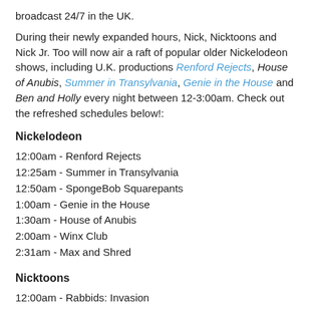broadcast 24/7 in the UK.
During their newly expanded hours, Nick, Nicktoons and Nick Jr. Too will now air a raft of popular older Nickelodeon shows, including U.K. productions Renford Rejects, House of Anubis, Summer in Transylvania, Genie in the House and Ben and Holly every night between 12-3:00am. Check out the refreshed schedules below!:
Nickelodeon
12:00am - Renford Rejects
12:25am - Summer in Transylvania
12:50am - SpongeBob Squarepants
1:00am - Genie in the House
1:30am - House of Anubis
2:00am - Winx Club
2:31am - Max and Shred
Nicktoons
12:00am - Rabbids: Invasion